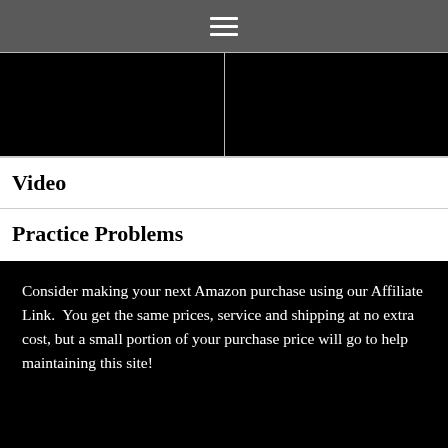[Figure (other): Navigation hamburger menu icon (three horizontal white lines) on a dark gray background bar]
| Largest Exponent:  3
Graph:  A funky sideways S
Table:  The third change is constant
Domain: All Real Numbers
Range:  All Real Numbers | Largest Exponent:  There is not a largest
Graph:  Has a horizontal asymptote, increases or decreases away from that
Table:  No constant change, ever
Domain:  All Real Numbers
Range: Read the graph |
Video
Practice Problems
Consider making your next Amazon purchase using our Affiliate Link.  You get the same prices, service and shipping at no extra cost, but a small portion of your purchase price will go to help maintaining this site!